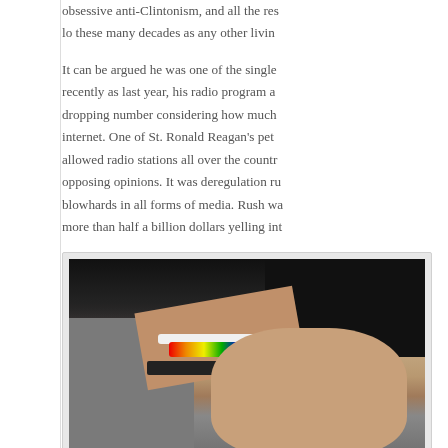obsessive anti-Clintonism, and all the res… lo these many decades as any other livin…
It can be argued he was one of the single… recently as last year, his radio program a… dropping number considering how much… internet. One of St. Ronald Reagan's pet… allowed radio stations all over the countr… opposing opinions. It was deregulation ru… blowhards in all forms of media. Rush wa… more than half a billion dollars yelling int…
[Figure (photo): A close-up photo of a person's hand with a rainbow bracelet and white beaded bracelet pressing near the head of an older bald man, against a dark background.]